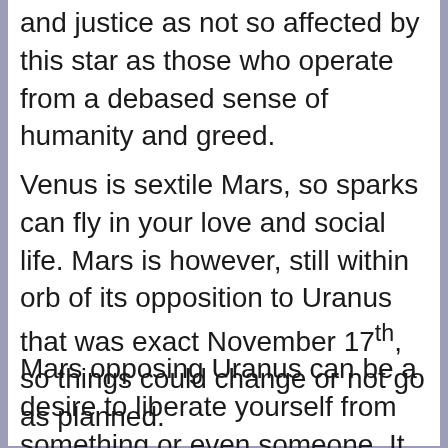and justice as not so affected by this star as those who operate from a debased sense of humanity and greed.
Venus is sextile Mars, so sparks can fly in your love and social life. Mars is however, still within orb of its opposition to Uranus that was exact November 17th, so things could change or not go as planned.
Mars opposing Uranus can be a desire to liberate yourself from something or even someone. It is prone to unexpected events that can occur and it can be volatile. At worst this could be some sort of attack or argument that seems to come out of the blue.  Use caution as this transit is also accident prone.
Mars is in its opposition to Uranus over the